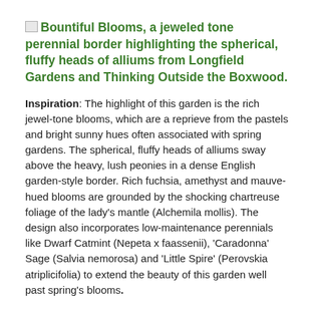Bountiful Blooms, a jeweled tone perennial border highlighting the spherical, fluffy heads of alliums from Longfield Gardens and Thinking Outside the Boxwood.
Inspiration: The highlight of this garden is the rich jewel-tone blooms, which are a reprieve from the pastels and bright sunny hues often associated with spring gardens. The spherical, fluffy heads of alliums sway above the heavy, lush peonies in a dense English garden-style border. Rich fuchsia, amethyst and mauve-hued blooms are grounded by the shocking chartreuse foliage of the lady's mantle (Alchemila mollis). The design also incorporates low-maintenance perennials like Dwarf Catmint (Nepeta x faassenii), 'Caradonna' Sage (Salvia nemorosa) and 'Little Spire' (Perovskia atriplicifolia) to extend the beauty of this garden well past spring's blooms.